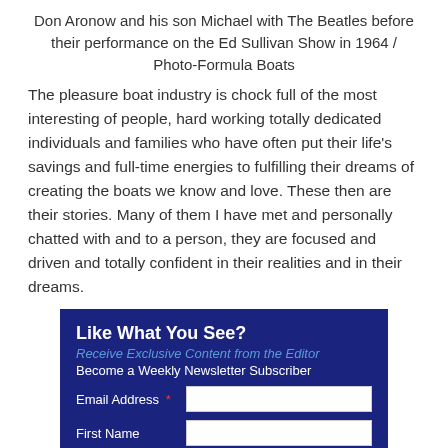Don Aronow and his son Michael with The Beatles before their performance on the Ed Sullivan Show in 1964 / Photo-Formula Boats
The pleasure boat industry is chock full of the most interesting of people, hard working totally dedicated individuals and families who have often put their life's savings and full-time energies to fulfilling their dreams of creating the boats we know and love. These then are their stories. Many of them I have met and personally chatted with and to a person, they are focused and driven and totally confident in their realities and in their dreams.
[Figure (infographic): Newsletter signup form with dark navy blue background. Title: 'Like What You See?', subtitle in blue italic: 'Receive Exclusive Content from the Editor', description: 'Become a Weekly Newsletter Subscriber'. Fields for Email Address (with red asterisk) and First Name, each with white input boxes.]